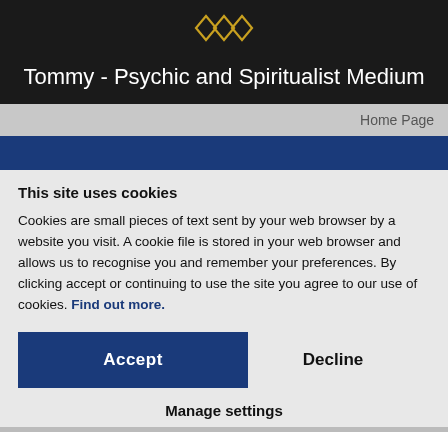[Figure (logo): Interlocking diamond/chain link logo in gold/yellow outline on black background]
Tommy - Psychic and Spiritualist Medium
Home Page
This site uses cookies
Cookies are small pieces of text sent by your web browser by a website you visit. A cookie file is stored in your web browser and allows us to recognise you and remember your preferences. By clicking accept or continuing to use the site you agree to our use of cookies. Find out more.
Accept
Decline
Manage settings